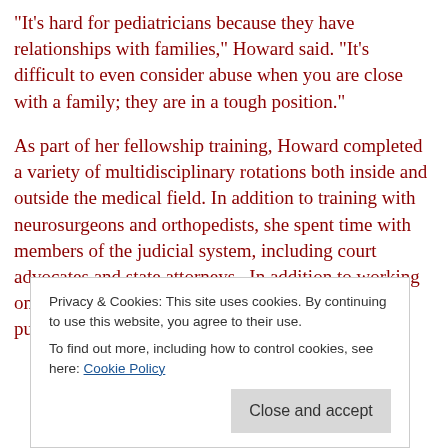“It’s hard for pediatricians because they have relationships with families,” Howard said. “It’s difficult to even consider abuse when you are close with a family; they are in a tough position.”
As part of her fellowship training, Howard completed a variety of multidisciplinary rotations both inside and outside the medical field. In addition to training with neurosurgeons and orthopedists, she spent time with members of the judicial system, including court advocates and state attorneys.  In addition to working on specific cases, Howard holds a legislative role, pushing for policies
Privacy & Cookies: This site uses cookies. By continuing to use this website, you agree to their use.
To find out more, including how to control cookies, see here: Cookie Policy